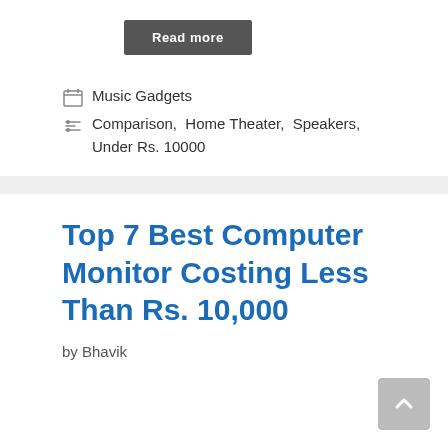Read more
Music Gadgets
Comparison, Home Theater, Speakers, Under Rs. 10000
Top 7 Best Computer Monitor Costing Less Than Rs. 10,000
by Bhavik